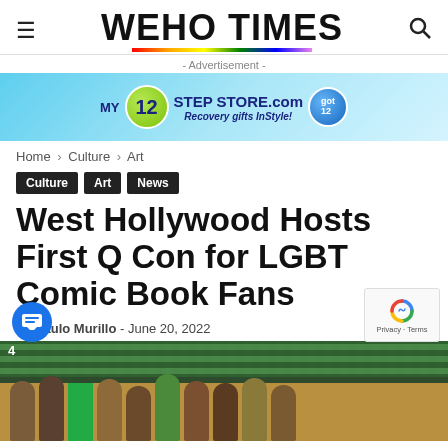WEHO TIMES
[Figure (other): Advertisement banner for My 12 Step Store.com - Recovery gifts InStyle! with got 12 badge]
Home › Culture › Art
Culture
Art
News
West Hollywood Hosts First Q Con for LGBT Comic Book Fans
By Paulo Murillo - June 20, 2022
[Figure (photo): Photo of people in costumes on a stage with green curtains and wooden stage backdrop, partial view showing number 4 in top left corner]